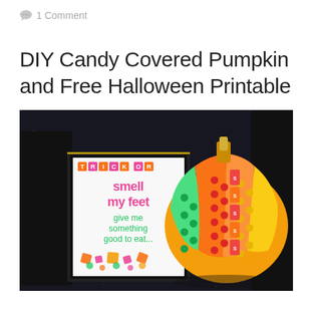1 Comment
DIY Candy Covered Pumpkin and Free Halloween Printable
[Figure (photo): A candy-covered pumpkin decorated with colorful Skittles and Starburst candies in red, orange, yellow, and green arranged in stripes, with a gold stem, displayed next to a framed Halloween printable sign reading 'Trick or Treat, smell my feet, give me something good to eat...' on a dark sparkly background.]